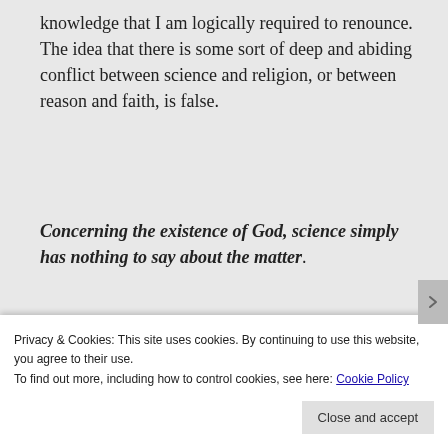knowledge that I am logically required to renounce.  The idea that there is some sort of deep and abiding conflict between science and religion, or between reason and faith, is false.
Concerning the existence of God, science simply has nothing to say about the matter.
Share this:
Privacy & Cookies: This site uses cookies. By continuing to use this website, you agree to their use.
To find out more, including how to control cookies, see here: Cookie Policy